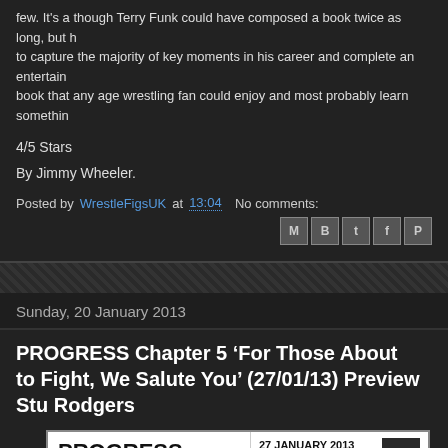few. It's a though Terry Funk could have composed a book twice as long, but h to capture the majority of key moments in his career and complete an entertain book that any age wrestling fan could enjoy and most probably learn somethin
4/5 Stars
By Jimmy Wheeler.
Posted by WrestleFigsUK at 13:04   No comments:
Sunday, 20 January 2013
PROGRESS Chapter 5 ‘For Those About to Fight, We Salute You’ (27/01/13) Preview Stu Rodgers
[Figure (photo): PROGRESS Chapter 5 event poster showing 'PROGRESS CHAPTER 5 FOR THOSE' text on left, '27 JANUARY 2013 THE GARAGE ISLINGTON PROGRESSWRESTLING.COM' with logo on top right, and wrestler photos on bottom right]